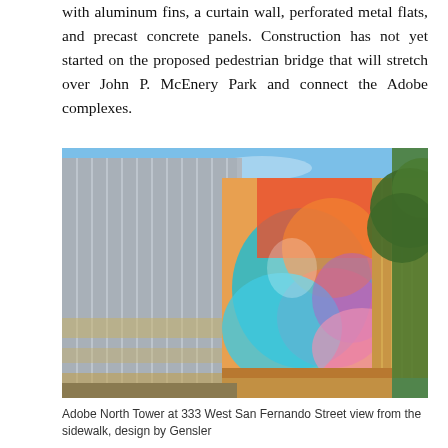with aluminum fins, a curtain wall, perforated metal flats, and precast concrete panels. Construction has not yet started on the proposed pedestrian bridge that will stretch over John P. McEnery Park and connect the Adobe complexes.
[Figure (photo): Adobe North Tower at 333 West San Fernando Street, a modern building with reflective aluminum fins, colorful mural/art panels in blue, pink, orange and red on glass curtain wall facade, photographed from sidewalk looking up. Trees visible on right side against blue sky.]
Adobe North Tower at 333 West San Fernando Street view from the sidewalk, design by Gensler